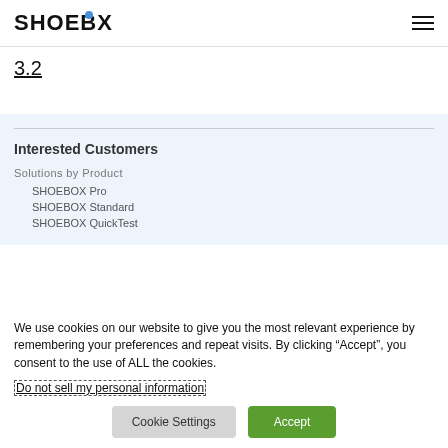SHOEBOX
3.2
Interested Customers
Solutions by Product
SHOEBOX Pro
SHOEBOX Standard
SHOEBOX QuickTest
We use cookies on our website to give you the most relevant experience by remembering your preferences and repeat visits. By clicking “Accept”, you consent to the use of ALL the cookies.
Do not sell my personal information
Cookie Settings  Accept